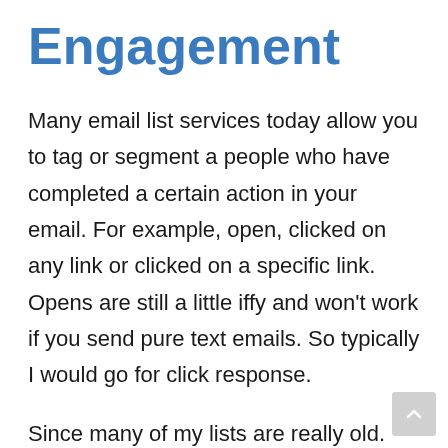Engagement
Many email list services today allow you to tag or segment a people who have completed a certain action in your email. For example, open, clicked on any link or clicked on a specific link. Opens are still a little iffy and won't work if you send pure text emails. So typically I would go for click response.
Since many of my lists are really old. Before